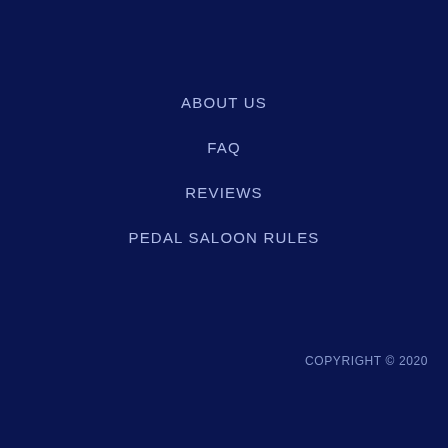ABOUT US
FAQ
REVIEWS
PEDAL SALOON RULES
COPYRIGHT © 2020